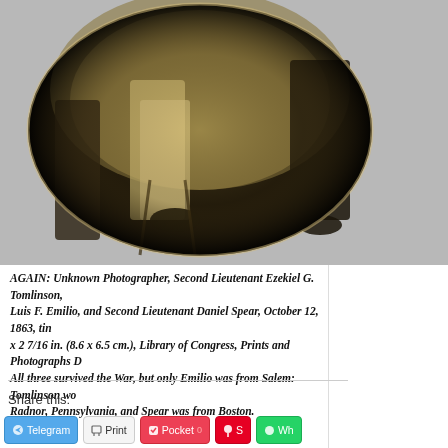[Figure (photo): Sepia-toned oval/circular cropped historical photograph showing seated figures in military or period dress. The photo appears to be a tintype or albumen print mounted on a card, with the circular crop showing lower bodies and legs of seated men, with dark background and golden-brown sepia tones.]
AGAIN: Unknown Photographer, Second Lieutenant Ezekiel G. Tomlinson, Luis F. Emilio, and Second Lieutenant Daniel Spear, October 12, 1863, tin x 2 7/16 in. (8.6 x 6.5 cm.), Library of Congress, Prints and Photographs D All three survived the War, but only Emilio was from Salem: Tomlinson wo Radnor, Pennsylvania, and Spear was from Boston.
Share this: